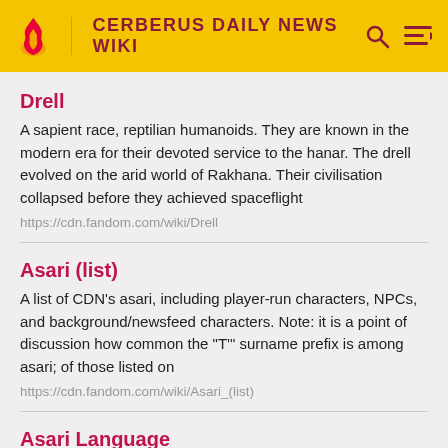CERBERUS DAILY NEWS WIKI
Drell
A sapient race, reptilian humanoids. They are known in the modern era for their devoted service to the hanar. The drell evolved on the arid world of Rakhana. Their civilisation collapsed before they achieved spaceflight
https://cdn.fandom.com/wiki/Drell
Asari (list)
A list of CDN's asari, including player-run characters, NPCs, and background/newsfeed characters. Note: it is a point of discussion how common the "T'" surname prefix is among asari; of those listed on
https://cdn.fandom.com/wiki/Asari_(list)
Asari Language